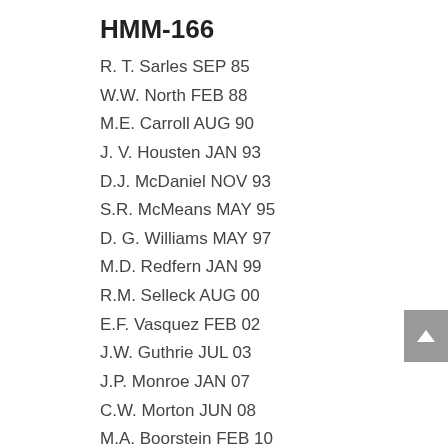HMM-166
R. T. Sarles SEP 85
W.W. North FEB 88
M.E. Carroll AUG 90
J. V. Housten JAN 93
D.J. McDaniel NOV 93
S.R. McMeans MAY 95
D. G. Williams MAY 97
M.D. Redfern JAN 99
R.M. Selleck AUG 00
E.F. Vasquez FEB 02
J.W. Guthrie JUL 03
J.P. Monroe JAN 07
C.W. Morton JUN 08
M.A. Boorstein FEB 10
M.K. Van Nest MAR 12
HMH-466